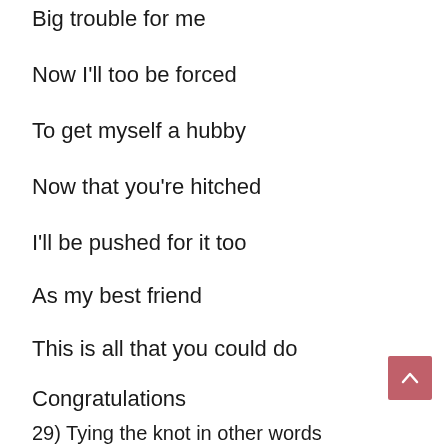Big trouble for me
Now I'll too be forced
To get myself a hubby
Now that you're hitched
I'll be pushed for it too
As my best friend
This is all that you could do
Congratulations
29) Tying the knot in other words